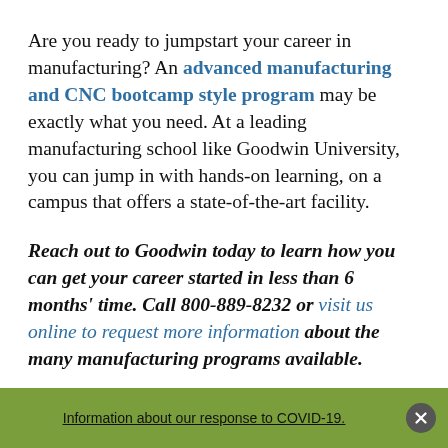Are you ready to jumpstart your career in manufacturing? An advanced manufacturing and CNC bootcamp style program may be exactly what you need. At a leading manufacturing school like Goodwin University, you can jump in with hands-on learning, on a campus that offers a state-of-the-art facility.
Reach out to Goodwin today to learn how you can get your career started in less than 6 months' time. Call 800-889-8232 or visit us online to request more information about the many manufacturing programs available.
Information about our response to COVID-19.